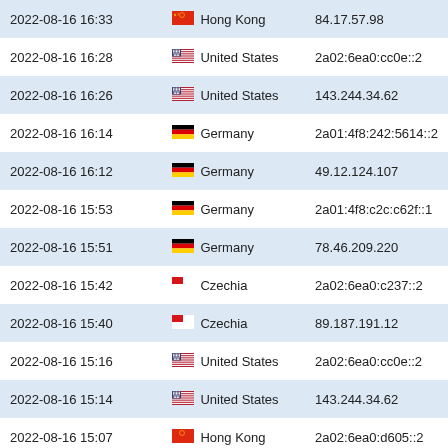| Date/Time | Country | IP Address |
| --- | --- | --- |
| 2022-08-16 16:33 | Hong Kong | 84.17.57.98 |
| 2022-08-16 16:28 | United States | 2a02:6ea0:cc0e::2 |
| 2022-08-16 16:26 | United States | 143.244.34.62 |
| 2022-08-16 16:14 | Germany | 2a01:4f8:242:5614::2 |
| 2022-08-16 16:12 | Germany | 49.12.124.107 |
| 2022-08-16 15:53 | Germany | 2a01:4f8:c2c:c62f::1 |
| 2022-08-16 15:51 | Germany | 78.46.209.220 |
| 2022-08-16 15:42 | Czechia | 2a02:6ea0:c237::2 |
| 2022-08-16 15:40 | Czechia | 89.187.191.12 |
| 2022-08-16 15:16 | United States | 2a02:6ea0:cc0e::2 |
| 2022-08-16 15:14 | United States | 143.244.34.62 |
| 2022-08-16 15:07 | Hong Kong | 2a02:6ea0:d605::2 |